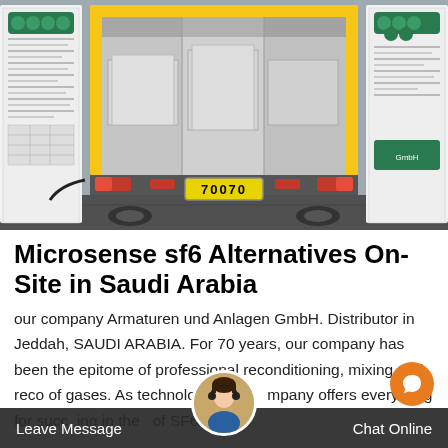[Figure (photo): Rear view of a truck with open cargo area, yellow frame, license plate reading 70070, flanked by two white display banners with green hexagonal logos on sides, parked on asphalt.]
Microsense sf6 Alternatives On-Site in Saudi Arabia
our company Armaturen und Anlagen GmbH. Distributor in Jeddah, SAUDI ARABIA. For 70 years, our company has been the epitome of professional reconditioning, mixing and reco of gases. As technology leade mpany offers everything for succ ing in the of SF6 gas
Leave Message
Chat Online